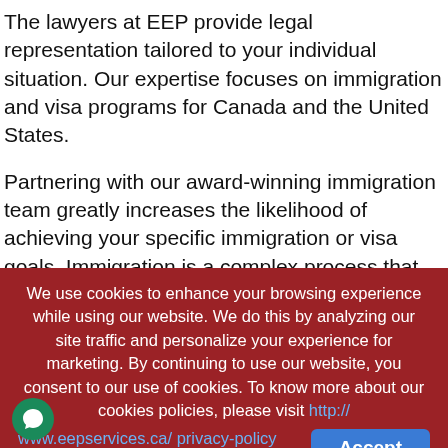The lawyers at EEP provide legal representation tailored to your individual situation. Our expertise focuses on immigration and visa programs for Canada and the United States.
Partnering with our award-winning immigration team greatly increases the likelihood of achieving your specific immigration or visa goals. Immigration is a complex process that requires strong legal strategy, precise paperwork and attention to detail. This reduces the risk of wasted time, money, or permanent rejection.
We use cookies to enhance your browsing experience while using our website. We do this by analyzing our site traffic and personalize your experience for marketing. By continuing to use our website, you consent to our use of cookies. To know more about our cookies policies, please visit http://www.eepservices.ca/ privacy-policy (#)